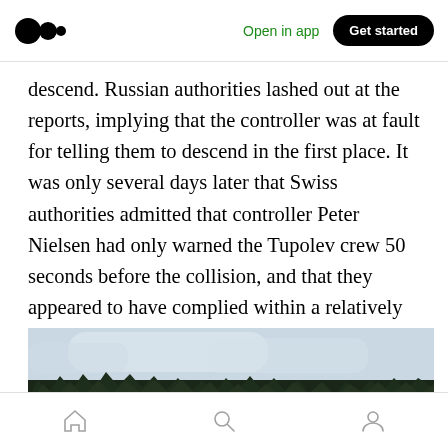Open in app | Get started
descend. Russian authorities lashed out at the reports, implying that the controller was at fault for telling them to descend in the first place. It was only several days later that Swiss authorities admitted that controller Peter Nielsen had only warned the Tupolev crew 50 seconds before the collision, and that they appeared to have complied within a relatively short period.
[Figure (photo): Landscape photo showing a treeline of dark conifers against a cloudy sky, with fields in the foreground. Appears to be a rural European countryside scene.]
Home | Search | Profile